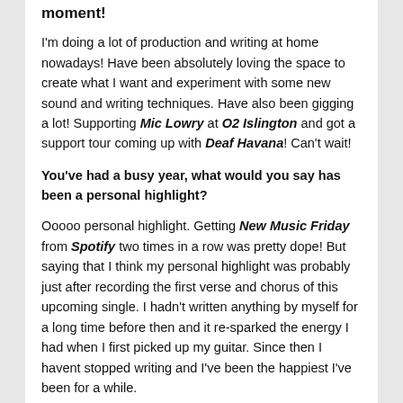moment!
I'm doing a lot of production and writing at home nowadays! Have been absolutely loving the space to create what I want and experiment with some new sound and writing techniques. Have also been gigging a lot! Supporting Mic Lowry at O2 Islington and got a support tour coming up with Deaf Havana! Can't wait!
You've had a busy year, what would you say has been a personal highlight?
Ooooo personal highlight. Getting New Music Friday from Spotify two times in a row was pretty dope! But saying that I think my personal highlight was probably just after recording the first verse and chorus of this upcoming single. I hadn't written anything by myself for a long time before then and it re-sparked the energy I had when I first picked up my guitar. Since then I havent stopped writing and I've been the happiest I've been for a while.